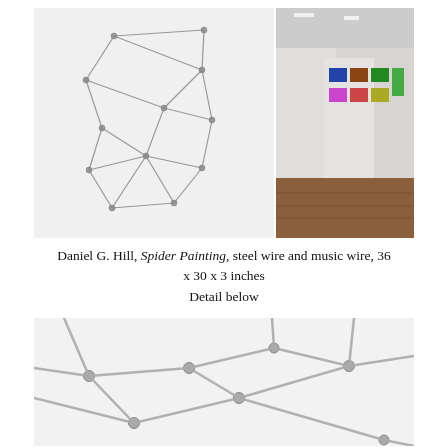[Figure (photo): Two photos side by side: left shows a spider web-like steel wire sculpture mounted on a white wall; right shows a gallery interior with colorful paintings on white walls and a wood floor.]
Daniel G. Hill, Spider Painting, steel wire and music wire, 36 x 30 x 3 inches
Detail below
[Figure (photo): Close-up detail of the steel wire and music wire sculpture showing wire nodes and connecting rods against a white background.]